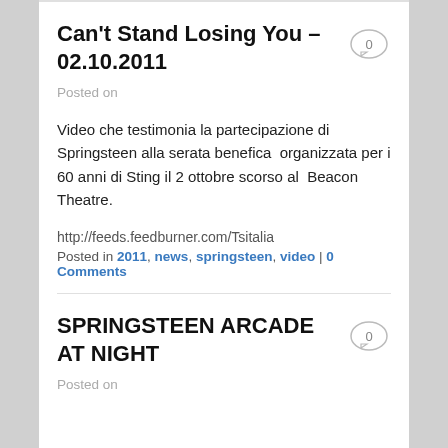Can't Stand Losing You – 02.10.2011
Posted on
Video che testimonia la partecipazione di Springsteen alla serata benefica  organizzata per i 60 anni di Sting il 2 ottobre scorso al  Beacon Theatre.
http://feeds.feedburner.com/Tsitalia
Posted in 2011, news, springsteen, video | 0 Comments
SPRINGSTEEN ARCADE AT NIGHT
Posted on